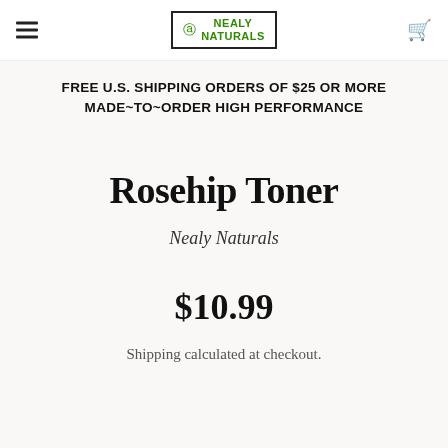Nealy Naturals (logo)
FREE U.S. SHIPPING ORDERS OF $25 OR MORE
MADE~TO~ORDER HIGH PERFORMANCE
Rosehip Toner
Nealy Naturals
$10.99
Shipping calculated at checkout.